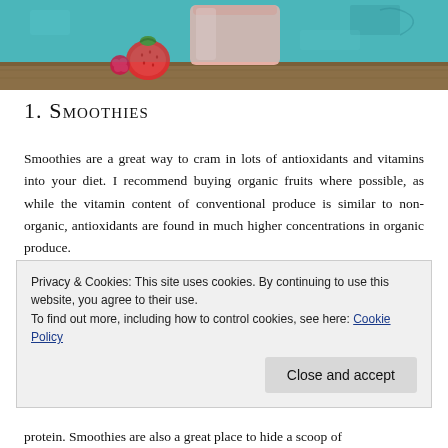[Figure (photo): Strawberry smoothie in a glass mason jar with fresh strawberries and raspberries on a wooden surface, teal painted background]
1. Smoothies
Smoothies are a great way to cram in lots of antioxidants and vitamins into your diet. I recommend buying organic fruits where possible, as while the vitamin content of conventional produce is similar to non-organic, antioxidants are found in much higher concentrations in organic produce.
Privacy & Cookies: This site uses cookies. By continuing to use this website, you agree to their use.
To find out more, including how to control cookies, see here: Cookie Policy
protein. Smoothies are also a great place to hide a scoop of